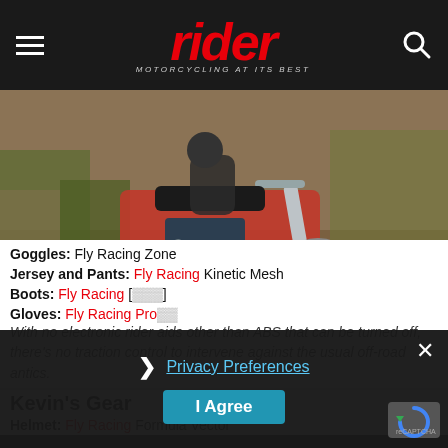rider MOTORCYCLING AT ITS BEST
[Figure (photo): Motorcycle performing off-road maneuver on dirt trail through trees, front wheel lifted, rider visible]
With no electronic rider aids other than ABS that can be turned off, there's no traction control to intervene against the usual off-road antics.
Kevin's Gear
Helmet: Fly Racing Formula Vector
Goggles: Fly Racing Zone
Jersey and Pants: Fly Racing Kinetic Mesh
Boots: Fly Racing [obscured]
Gloves: Fly Racing Pro[obscured]
Privacy Preferences | I Agree